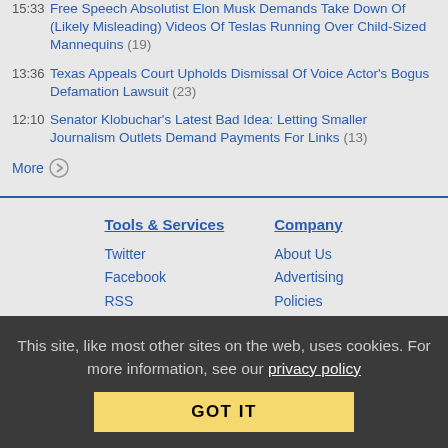15:33 Free Speech Absolutist Elon Musk Demands Take Down Of (Likely Misleading) Videos Of Teslas Running Over Child-Sized Mannequins (19)
13:36 Texas Appeals Court Upholds Dismissal Of Voice Actor's Bogus Defamation Lawsuit (23)
12:10 Senator Klobuchar's Latest Bad Idea: Letting Smaller Journalism Outlets Demand Payments For Links (13)
More →
Tools & Services
Twitter
Facebook
RSS
Podcast
Research & Reports
Company
About Us
Advertising
Policies
Privacy
This site, like most other sites on the web, uses cookies. For more information, see our privacy policy
GOT IT